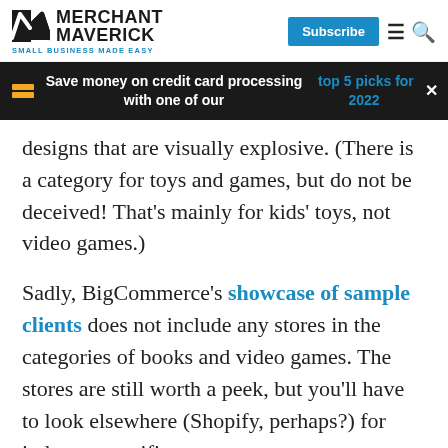MERCHANT MAVERICK — SMALL BUSINESS MADE EASY | Subscribe
Save money on credit card processing with one of our top 5 picks for 2022
designs that are visually explosive. (There is a category for toys and games, but do not be deceived! That's mainly for kids' toys, not video games.)
Sadly, BigCommerce's showcase of sample clients does not include any stores in the categories of books and video games. The stores are still worth a peek, but you'll have to look elsewhere (Shopify, perhaps?) for industry-specific